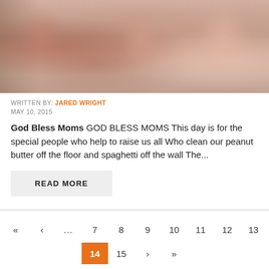[Figure (illustration): Painting or illustration showing figures, with warm pinkish-brown tones, appears to be a figurative artwork showing people or bodies in soft impressionistic style]
WRITTEN BY: JARED WRIGHT
MAY 10, 2015
God Bless Moms GOD BLESS MOMS This day is for the special people who help to raise us all Who clean our peanut butter off the floor and spaghetti off the wall The...
READ MORE
« ‹ ... 7 8 9 10 11 12 13 14 15 › »